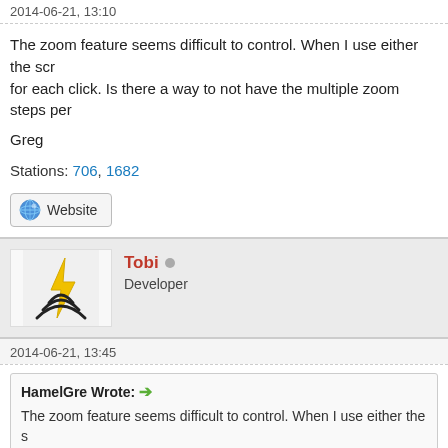2014-06-21, 13:10
The zoom feature seems difficult to control. When I use either the scr for each click. Is there a way to not have the multiple zoom steps per
Greg
Stations: 706, 1682
[Figure (other): Website button with globe icon]
[Figure (other): User avatar with lightning bolt and radio wave icon for Tobi, Developer]
Tobi  Developer
2014-06-21, 13:45
HamelGre Wrote: → The zoom feature seems difficult to control. When I use either the s one for each click. Is there a way to not have the multiple zoom ste
The map uses the standard Google zoom functionality with mouse wh